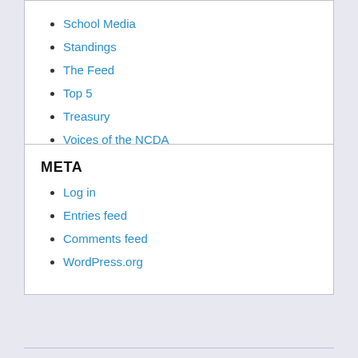School Media
Standings
The Feed
Top 5
Treasury
Voices of the NCDA
META
Log in
Entries feed
Comments feed
WordPress.org